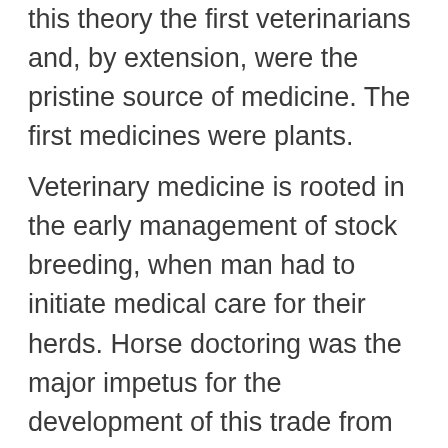this theory the first veterinarians and, by extension, were the pristine source of medicine. The first medicines were plants.
Veterinary medicine is rooted in the early management of stock breeding, when man had to initiate medical care for their herds. Horse doctoring was the major impetus for the development of this trade from ancient times up through the early 20th century in most cultures around the world. Horses, together with oxen, were essential to the general economy, civilian and military